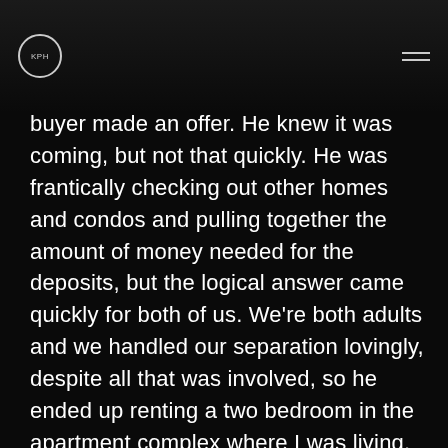KPH
buyer made an offer. He knew it was coming, but not that quickly. He was frantically checking out other homes and condos and pulling together the amount of money needed for the deposits, but the logical answer came quickly for both of us. We're both adults and we handled our separation lovingly, despite all that was involved, so he ended up renting a two bedroom in the apartment complex where I was living. He upgraded my apartment to a two bedroom and Grace came to live with me, and Noah lived with him. It was ideal because we didn't have to drive all over town towing kids back and forth, and they could easily